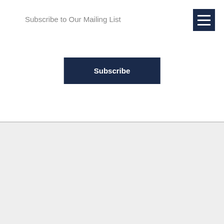Subscribe to Our Mailing List
Subscribe
Services
Green Building
Home Energy Plan
Historic Restoration
New Construction
Renovations and Small Projects